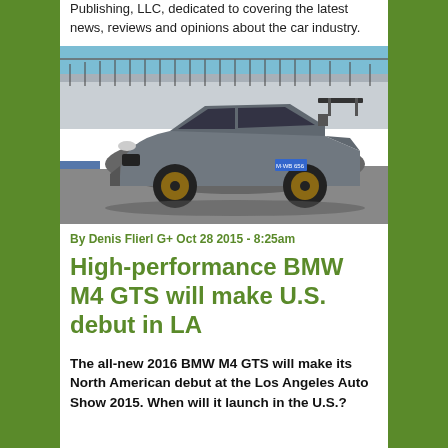Publishing, LLC, dedicated to covering the latest news, reviews and opinions about the car industry.
[Figure (photo): A gray BMW M4 GTS on a race track, with grandstands and barriers visible in the background. The car has a large rear spoiler and bronze wheels.]
By Denis Flierl G+ Oct 28 2015 - 8:25am
High-performance BMW M4 GTS will make U.S. debut in LA
The all-new 2016 BMW M4 GTS will make its North American debut at the Los Angeles Auto Show 2015. When will it launch in the U.S.?